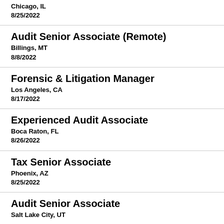Chicago, IL
8/25/2022
Audit Senior Associate (Remote)
Billings, MT
8/8/2022
Forensic & Litigation Manager
Los Angeles, CA
8/17/2022
Experienced Audit Associate
Boca Raton, FL
8/26/2022
Tax Senior Associate
Phoenix, AZ
8/25/2022
Audit Senior Associate
Salt Lake City, UT